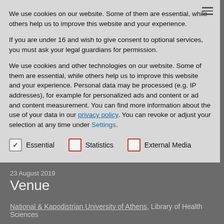We use cookies on our website. Some of them are essential, while others help us to improve this website and your experience.
If you are under 16 and wish to give consent to optional services, you must ask your legal guardians for permission.
We use cookies and other technologies on our website. Some of them are essential, while others help us to improve this website and your experience. Personal data may be processed (e.g. IP addresses), for example for personalized ads and content or ad and content measurement. You can find more information about the use of your data in our privacy policy. You can revoke or adjust your selection at any time under Settings.
Essential   Statistics   External Media
23 August 2019
Venue
National & Kapodistrian University of Athens, Library of Health Sciences
Organizer